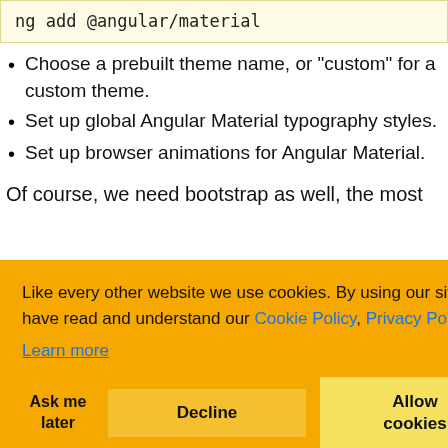ng add @angular/material
Choose a prebuilt theme name, or "custom" for a custom theme.
Set up global Angular Material typography styles.
Set up browser animations for Angular Material.
Of course, we need bootstrap as well, the most
[Figure (screenshot): Cookie consent banner with orange background. Text: 'Like every other website we use cookies. By using our site you acknowledge that you have read and understand our Cookie Policy, Privacy Policy, and our Terms of Service. Learn more'. Buttons: 'Ask me later', 'Decline', 'Allow cookies'.]
Angular Material
.css.